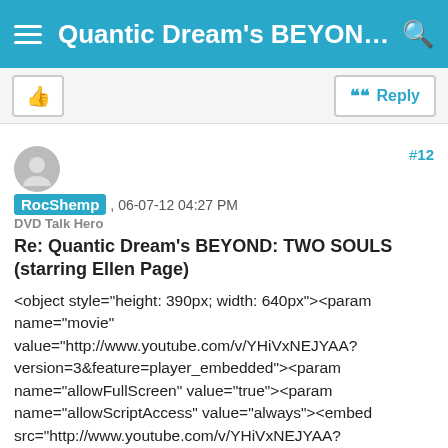Quantic Dream's BEYOND: TW...
RocShemp , 06-07-12 04:27 PM
DVD Talk Hero
Re: Quantic Dream's BEYOND: TWO SOULS (starring Ellen Page)
<object style="height: 390px; width: 640px"><param name="movie" value="http://www.youtube.com/v/YHiVxNEJYAA?version=3&feature=player_embedded"><param name="allowFullScreen" value="true"><param name="allowScriptAccess" value="always"><embed src="http://www.youtube.com/v/YHiVxNEJYAA?version=3&feature=player_embedded" type="application/x-shockwave-flash" allowfullscreen="true" allowScriptAccess="always" width="640" height="360"></object>